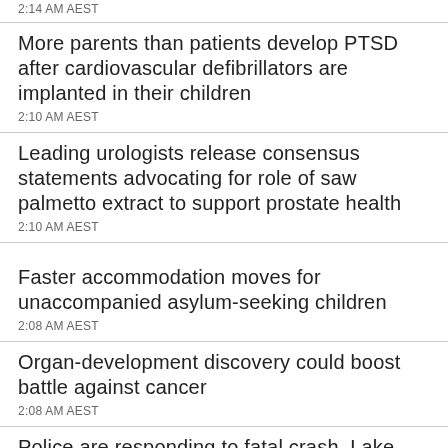2:14 AM AEST
More parents than patients develop PTSD after cardiovascular defibrillators are implanted in their children
2:10 AM AEST
Leading urologists release consensus statements advocating for role of saw palmetto extract to support prostate health
2:10 AM AEST
Faster accommodation moves for unaccompanied asylum-seeking children
2:08 AM AEST
Organ-development discovery could boost battle against cancer
2:08 AM AEST
Police are responding to fatal crash, Lake